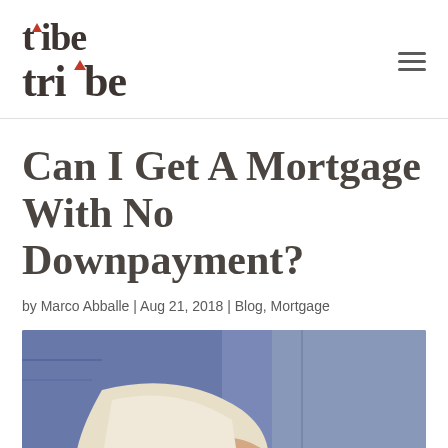tribe
Can I Get A Mortgage With No Downpayment?
by Marco Abballe | Aug 21, 2018 | Blog, Mortgage
[Figure (photo): Person pulling out empty pockets of jeans, illustrating having no money for a down payment]